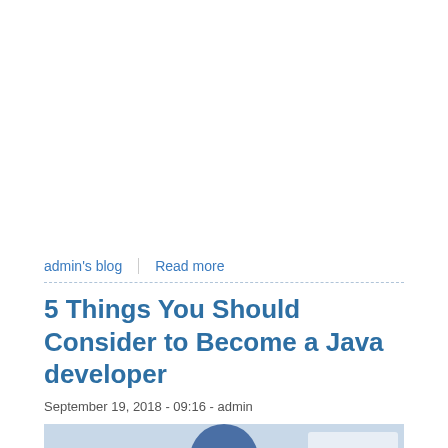admin's blog | Read more
5 Things You Should Consider to Become a Java developer
September 19, 2018 - 09:16 - admin
[Figure (photo): Article thumbnail image strip with blue background, circular avatar, and button]